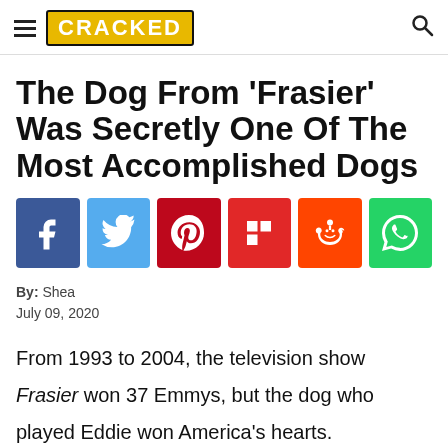CRACKED
The Dog From 'Frasier' Was Secretly One Of The Most Accomplished Dogs
[Figure (infographic): Social share buttons: Facebook, Twitter, Pinterest, Flipboard, Reddit, WhatsApp]
By: Shea
July 09, 2020
From 1993 to 2004, the television show Frasier won 37 Emmys, but the dog who played Eddie won America's hearts.